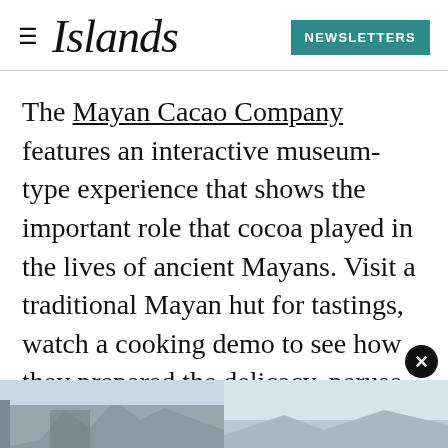Islands  NEWSLETTERS
The Mayan Cacao Company features an interactive museum-type experience that shows the important role that cocoa played in the lives of ancient Mayans. Visit a traditional Mayan hut for tastings, watch a cooking demo to see how they prepared the delicacy, peruse the exhibit about artisan chocolate making, and score chocolate bars and lotions in the gift shop.
[Figure (photo): Two photos side by side at the bottom: left shows a stone pyramid or ruin against a pale sky; right shows a lighter sky scene.]